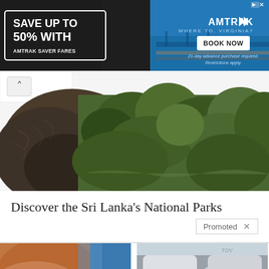[Figure (photo): Amtrak advertisement banner. Dark background on left with text 'SAVE UP TO 50% WITH AMTRAK SAVER FARES' in white bold font inside a white border box. Right side is blue with Amtrak logo with double-arrow chevron, 'WHERE TO. VIRGINIA?' text, a 'BOOK NOW' button, and fine print '21-day advance purchase required. Restrictions apply.' Top-right corner has ad badge icon and X close button.]
[Figure (photo): Partially visible elephant close-up on left, with lush green jungle/forest aerial view on right. A chevron/caret-up button is visible in the top-left of this image section.]
Discover the Sri Lanka’s National Parks
Promoted X
[Figure (photo): Close-up photo of a person's torso/midsection showing stomach/belly area with a bikini strap visible, skin tones of brown, blue background.]
A Teaspoon On An Empty Stomach Burns Fat Like Crazy!
🔥 6,036
[Figure (photo): Interior of a futuristic/luxury SUV or vehicle showing white/cream colored seats, steering wheel, and advanced interior design with blue accent lighting.]
All-New SUVs For Seniors (Take A Look At The Pricing)
🔥 2,803